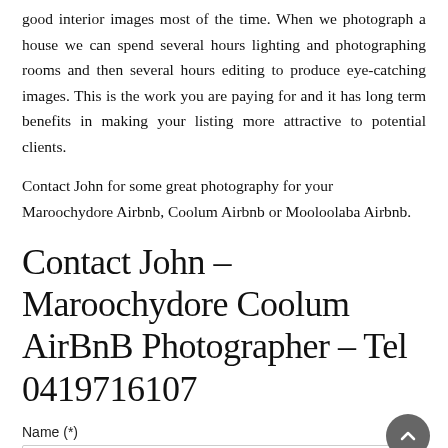good interior images most of the time. When we photograph a house we can spend several hours lighting and photographing rooms and then several hours editing to produce eye-catching images. This is the work you are paying for and it has long term benefits in making your listing more attractive to potential clients.
Contact John for some great photography for your Maroochydore Airbnb, Coolum Airbnb or Mooloolaba Airbnb.
Contact John – Maroochydore Coolum AirBnB Photographer – Tel 0419716107
Name (*)